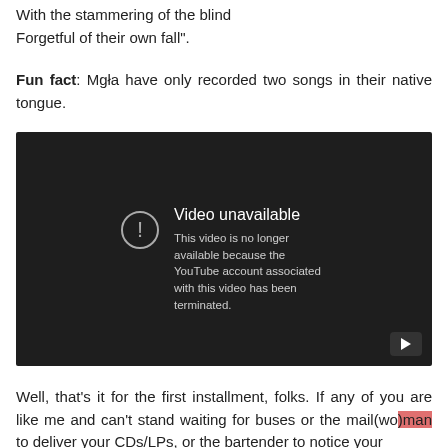With the stammering of the blind
Forgetful of their own fall".
Fun fact: Mgła have only recorded two songs in their native tongue.
[Figure (screenshot): Embedded YouTube video player showing 'Video unavailable' error message. Text reads: 'This video is no longer available because the YouTube account associated with this video has been terminated.' A play button icon is visible in the bottom-right corner.]
Well, that's it for the first installment, folks. If any of you are like me and can't stand waiting for buses or the mail(wo)man to deliver your CDs/LPs, or the bartender to notice your